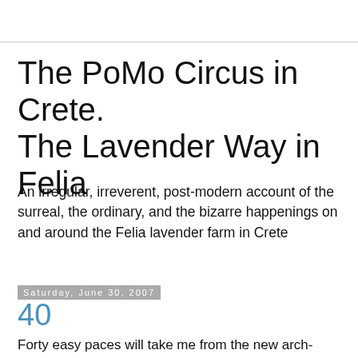The PoMo Circus in Crete. The Lavender Way in Felia
An irregular, irreverent, post-modern account of the surreal, the ordinary, and the bizarre happenings on and around the Felia lavender farm in Crete
Saturday, June 30, 2007
40
Forty easy paces will take me from the new arch-topped door to the last full row of olive trees. How old are they? The green sides of the leaves are glossy now and some are full of fruit already. The heat of the past few days has yellowed patches of leaves on each and every tree. The bases have